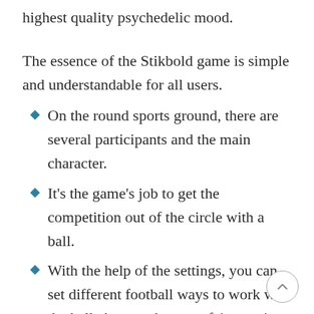highest quality psychedelic mood.
The essence of the Stikbold game is simple and understandable for all users.
On the round sports ground, there are several participants and the main character.
It's the game's job to get the competition out of the circle with a ball.
With the help of the settings, you can set different football ways to work with the ball. Among them are feints, spins, passing more and other ones.